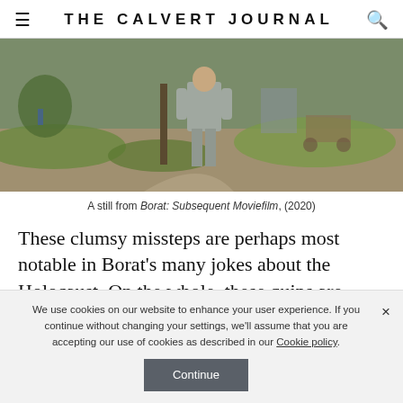THE CALVERT JOURNAL
[Figure (photo): A still from Borat: Subsequent Moviefilm (2020) showing a person in a grey suit walking through a rural village setting with green grass, dirt paths, and wooden carts]
A still from Borat: Subsequent Moviefilm, (2020)
These clumsy missteps are perhaps most notable in Borat's many jokes about the Holocaust. On the whole, these quips are humanised by the fact that Sacha Baron Cohen himself is Jewish. Not only is laughing about one's own oppression a hallmark of
We use cookies on our website to enhance your user experience. If you continue without changing your settings, we'll assume that you are accepting our use of cookies as described in our Cookie policy.
Continue